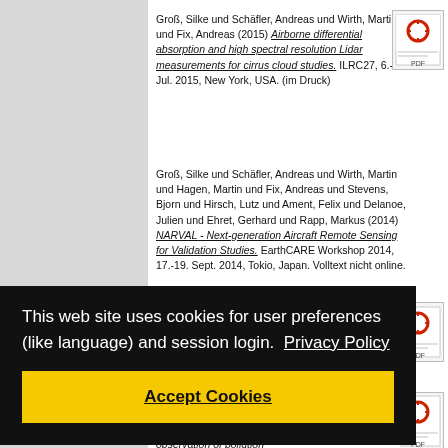Groß, Silke und Schäfler, Andreas und Wirth, Martin und Fix, Andreas (2015) Airborne differential absorption and high spectral resolution Lidar measurements for cirrus cloud studies. ILRC27, 6.-10. Jul. 2015, New York, USA. (im Druck)
[Figure (other): PDF icon]
Groß, Silke und Schäfler, Andreas und Wirth, Martin und Hagen, Martin und Fix, Andreas und Stevens, Bjorn und Hirsch, Lutz und Ament, Felix und Delanoe, Julien und Ehret, Gerhard und Rapp, Markus (2014) NARVAL - Next-generation Aircraft Remote Sensing for Validation Studies. EarthCARE Workshop 2014, 17.-19. Sept. 2014, Tokio, Japan. Volltext nicht online.
[Figure (other): PDF icon]
This web site uses cookies for user preferences (like language) and session login.  Privacy Policy
Accept Cookies
[Figure (other): PDF icon]
(2013) Airborne high spectral resolution lidar observation of pollution